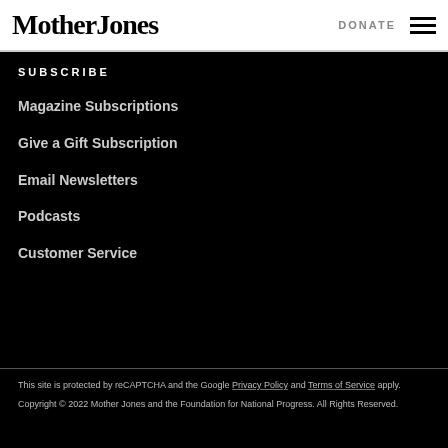Mother Jones | DONATE
SUBSCRIBE
Magazine Subscriptions
Give a Gift Subscription
Email Newsletters
Podcasts
Customer Service
This site is protected by reCAPTCHA and the Google Privacy Policy and Terms of Service apply.
Copyright © 2022 Mother Jones and the Foundation for National Progress. All Rights Reserved.